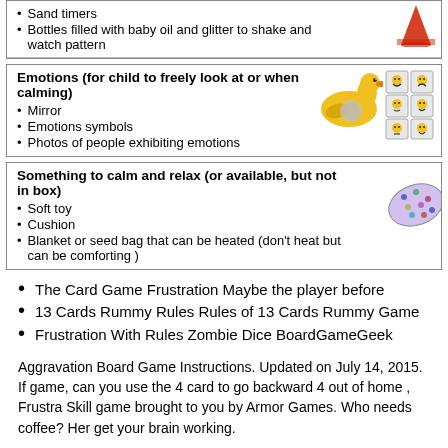| Sand timers |  |
| Bottles filled with baby oil and glitter to shake and watch pattern |  |
| Emotions (for child to freely look at or when calming) |
| --- |
| Mirror |  |
| Emotions symbols |  |
| Photos of people exhibiting emotions |  |
| Something to calm and relax (or available, but not in box) |
| --- |
| Soft toy |  |
| Cushion |  |
| Blanket or seed bag that can be heated (don’t heat but can be comforting ) |  |
The Card Game Frustration Maybe the player before
13 Cards Rummy Rules Rules of 13 Cards Rummy Game
Frustration With Rules Zombie Dice BoardGameGeek
Aggravation Board Game Instructions. Updated on July 14, 2015. If game, can you use the 4 card to go backward 4 out of home , Frustra Skill game brought to you by Armor Games. Who needs coffee? Her get your brain working.
So you like card games, huh? Don't we all. Well, have you ever heard